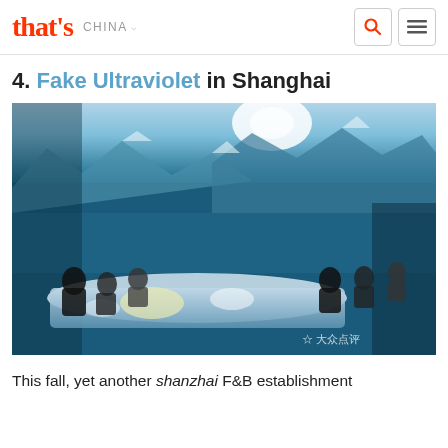that's CHINA
4. Fake Ultraviolet in Shanghai
[Figure (photo): People dining at a long white table in an immersive experience restaurant with large panoramic mountain lake landscape projected on walls and ceiling, watermark 大众点评 visible in bottom right]
This fall, yet another shanzhai F&B establishment